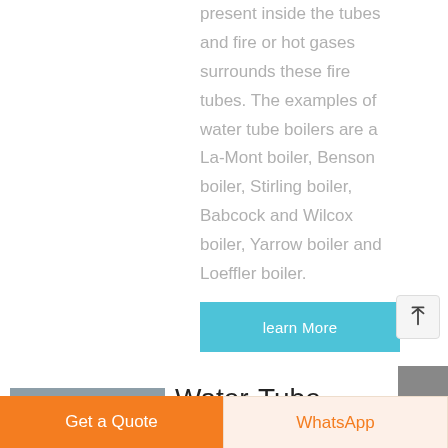present inside the tubes and fire or hot gases surrounds these fire tubes. The examples of water tube boilers are a La-Mont boiler, Benson boiler, Stirling boiler, Babcock and Wilcox boiler, Yarrow boiler and Loeffler boiler.
[Figure (other): Learn More button — teal/cyan rectangular button with white text]
[Figure (photo): Industrial boiler equipment photo showing large cylindrical tanks and yellow piping]
Water-Tube Or Fire-Tube Condensing
[Figure (other): Get a Quote orange button and WhatsApp button at bottom of page]